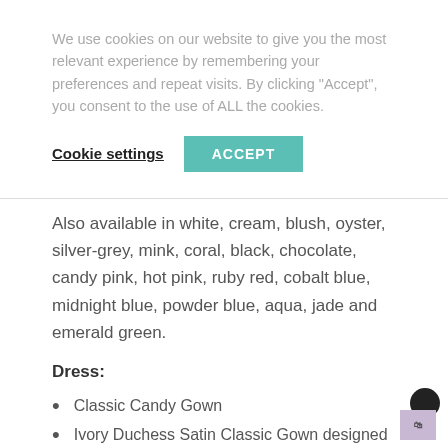We use cookies on our website to give you the most relevant experience by remembering your preferences and repeat visits. By clicking "Accept", you consent to the use of ALL the cookies.
Cookie settings   ACCEPT
Also available in white, cream, blush, oyster, silver-grey, mink, coral, black, chocolate, candy pink, hot pink, ruby red, cobalt blue, midnight blue, powder blue, aqua, jade and emerald green.
Dress:
Classic Candy Gown
Ivory Duchess Satin Classic Gown designed and cut with Candy's Unique, Perfect fit*
Fully, lightly boned bodice